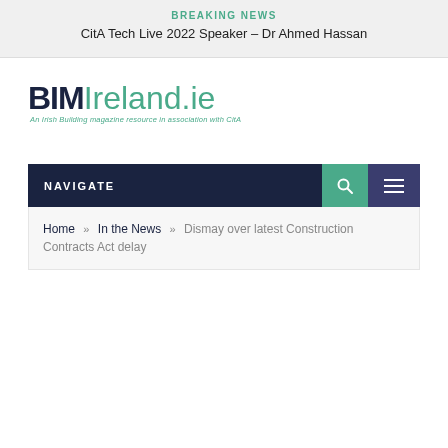BREAKING NEWS
CitA Tech Live 2022 Speaker – Dr Ahmed Hassan
[Figure (logo): BIMIreland.ie logo with tagline: An Irish Building magazine resource in association with CitA]
NAVIGATE
Home » In the News » Dismay over latest Construction Contracts Act delay